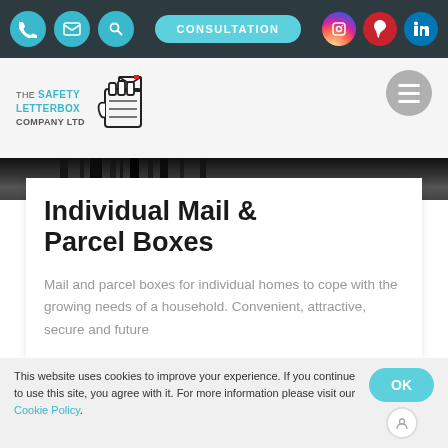Navigation bar with phone, email, search icons; CONSULTATION button; Instagram, Pinterest, LinkedIn icons
[Figure (logo): The Safety Letterbox Company Ltd logo with hand holding letters, Part of the RENZ GROUP]
[Figure (photo): Dark photo strip showing top of letterbox/mailbox installation]
Individual Mail & Parcel Boxes
Mail and parcel boxes for individual homes to cope with the growing needs of a household. Convenient, attractive, secure and future
This website uses cookies to improve your experience. If you continue to use this site, you agree with it. For more information please visit our Cookie Policy.